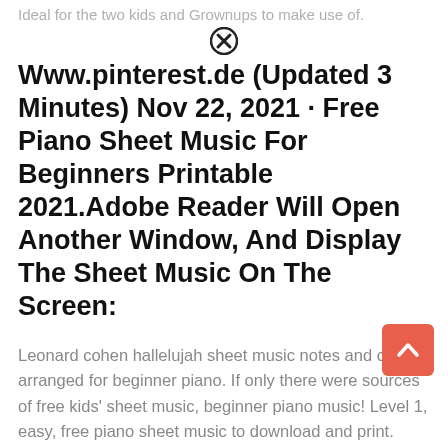Ideal for the two kids and Grownups to make use of.
Www.pinterest.de (Updated 3 Minutes) Nov 22, 2021 · Free Piano Sheet Music For Beginners Printable 2021.Adobe Reader Will Open Another Window, And Display The Sheet Music On The Screen:
Leonard cohen hallelujah sheet music notes and chords arranged for beginner piano. If only there were sources of free kids' sheet music, beginner piano music! Level 1, easy, free piano sheet music to download and print.
See More Ideas About Piano Beginner Piano, Piano Sheet Music.
Beginner piano sheet music let it go. There are many